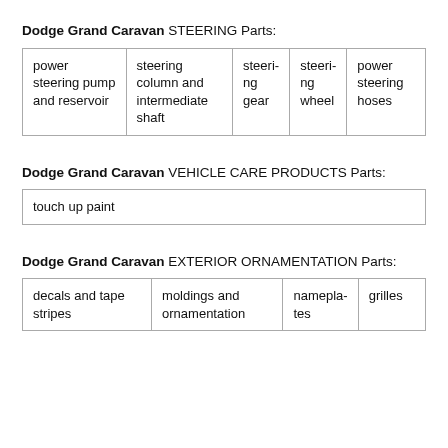Dodge Grand Caravan STEERING Parts:
| power steering pump and reservoir | steering column and intermediate shaft | steering gear | steering wheel | power steering hoses |
Dodge Grand Caravan VEHICLE CARE PRODUCTS Parts:
| touch up paint |
Dodge Grand Caravan EXTERIOR ORNAMENTATION Parts:
| decals and tape stripes | moldings and ornamentation | nameplates | grilles |